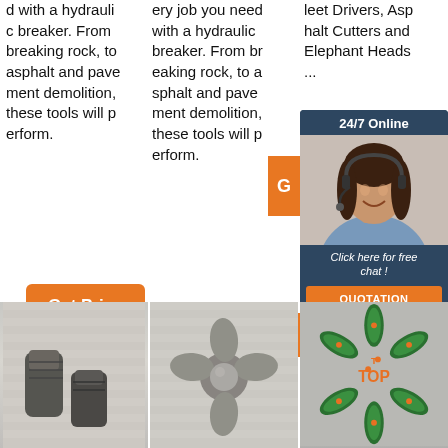d with a hydraulic breaker. From breaking rock, to asphalt and pavement demolition, these tools will perform.
ery job you need with a hydraulic breaker. From breaking rock, to asphalt and pavement demolition, these tools will perform.
leet Drivers, Asphalt Cutters and Elephant Heads ...
[Figure (photo): Customer service representative woman with headset, 24/7 Online chat widget with dark blue background, orange G button, orange QUOTATION button, and italic text 'Click here for free chat!']
[Figure (photo): Two dark metallic cylindrical drill bit tool parts on white corrugated background]
[Figure (photo): Cross-shaped metallic drill bit on white corrugated background]
[Figure (photo): Green star-shaped drill bit pieces arranged in circular pattern with TOP orange logo in center on grey background]